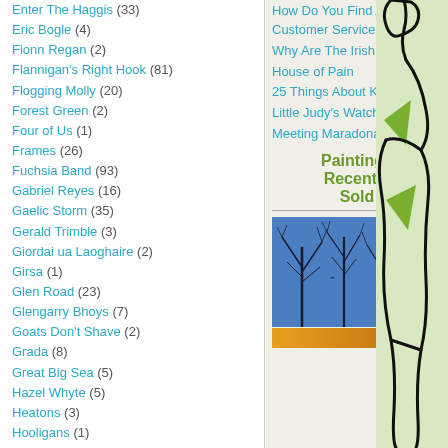Enter The Haggis (33)
Eric Bogle (4)
Fionn Regan (2)
Flannigan's Right Hook (81)
Flogging Molly (20)
Forest Green (2)
Four of Us (1)
Frames (26)
Fuchsia Band (93)
Gabriel Reyes (16)
Gaelic Storm (35)
Gerald Trimble (3)
Giordai ua Laoghaire (2)
Girsa (1)
Glen Road (23)
Glengarry Bhoys (7)
Goats Don't Shave (2)
Grada (8)
Great Big Sea (5)
Hazel Whyte (5)
Heatons (3)
Hooligans (1)
Horslips (9)
Indulgers (13)
James Galway (1)
Jed Marum (6)
Jessica Krah (2)
How Do You Find America? Customer Service in the US
Why Are The Irish Guilty?
House of Pain
25 Things About KC
Little Judy's Watching TOTP
Meeting Maradona
Paintings Recently Sold
[Figure (photo): Painting of bare winter trees against a blue sky with a bird in flight]